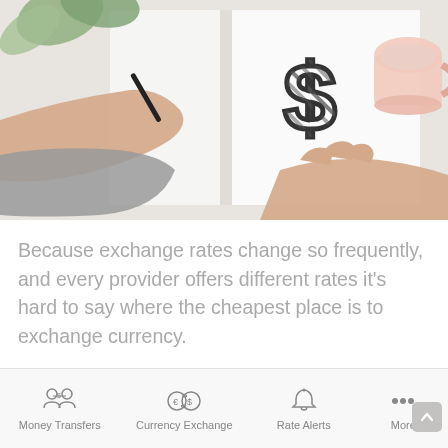[Figure (photo): Person drawing a dollar sign in a notebook, with a coffee cup and plant leaves visible on a white desk surface.]
Because exchange rates change so frequently, and every provider offers different rates it's hard to say where the cheapest place is to exchange currency.
Just steer clear of exchanging currency at the
[Figure (screenshot): Bottom navigation bar with four items: Money Transfers, Currency Exchange, Rate Alerts, More]